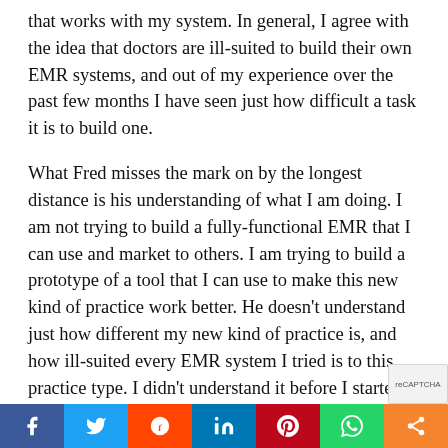that works with my system. In general, I agree with the idea that doctors are ill-suited to build their own EMR systems, and out of my experience over the past few months I have seen just how difficult a task it is to build one.
What Fred misses the mark on by the longest distance is his understanding of what I am doing. I am not trying to build a fully-functional EMR that I can use and market to others. I am trying to build a prototype of a tool that I can use to make this new kind of practice work better. He doesn’t understand just how different my new kind of practice is, and how ill-suited every EMR system I tried is to this practice type. I didn’t understand it before I started trying to use them in a real-life situation. I tried a different...
Facebook | Twitter | Reddit | LinkedIn | Pinterest | WhatsApp | Share